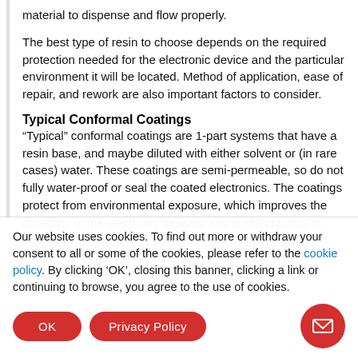material to dispense and flow properly.
The best type of resin to choose depends on the required protection needed for the electronic device and the particular environment it will be located. Method of application, ease of repair, and rework are also important factors to consider.
Typical Conformal Coatings
“Typical” conformal coatings are 1-part systems that have a resin base, and maybe diluted with either solvent or (in rare cases) water. These coatings are semi-permeable, so do not fully water-proof or seal the coated electronics. The coatings protect from environmental exposure, which improves the durability of the electronic devices, and is still practical to apply and repair
Our website uses cookies. To find out more or withdraw your consent to all or some of the cookies, please refer to the cookie policy. By clicking ‘OK’, closing this banner, clicking a link or continuing to browse, you agree to the use of cookies.